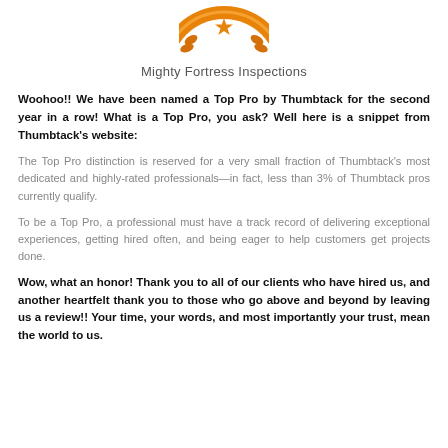[Figure (logo): Orange circular badge/seal logo with stars and laurel wreath design for Mighty Fortress Inspections]
Mighty Fortress Inspections
Woohoo!! We have been named a Top Pro by Thumbtack for the second year in a row! What is a Top Pro, you ask? Well here is a snippet from Thumbtack's website:
The Top Pro distinction is reserved for a very small fraction of Thumbtack's most dedicated and highly-rated professionals—in fact, less than 3% of Thumbtack pros currently qualify.
To be a Top Pro, a professional must have a track record of delivering exceptional experiences, getting hired often, and being eager to help customers get projects done.
Wow, what an honor! Thank you to all of our clients who have hired us, and another heartfelt thank you to those who go above and beyond by leaving us a review!! Your time, your words, and most importantly your trust, mean the world to us.